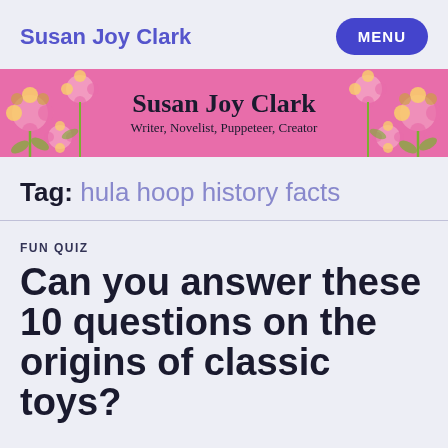Susan Joy Clark  MENU
[Figure (illustration): Pink floral banner with text 'Susan Joy Clark — Writer, Novelist, Puppeteer, Creator' on a pink background with yellow and pink flower decorations]
Tag: hula hoop history facts
FUN QUIZ
Can you answer these 10 questions on the origins of classic toys?